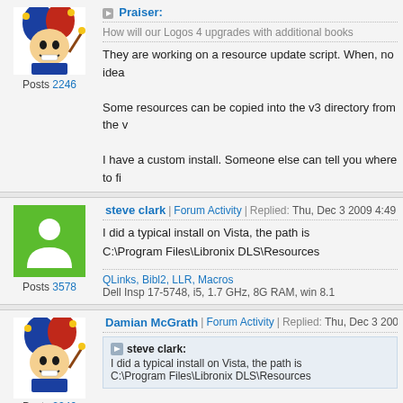Praiser: How will our Logos 4 upgrades with additional books
Posts 2246
They are working on a resource update script. When, no idea
Some resources can be copied into the v3 directory from the v
I have a custom install. Someone else can tell you where to fi
steve clark | Forum Activity | Replied: Thu, Dec 3 2009 4:49 PM
Posts 3578
I did a typical install on Vista, the path is
C:\Program Files\Libronix DLS\Resources
QLinks, Bibl2, LLR, Macros
Dell Insp 17-5748, i5, 1.7 GHz, 8G RAM, win 8.1
Damian McGrath | Forum Activity | Replied: Thu, Dec 3 2009 4:51
Posts 2246
steve clark: I did a typical install on Vista, the path is C:\Program Files\Libronix DLS\Resources